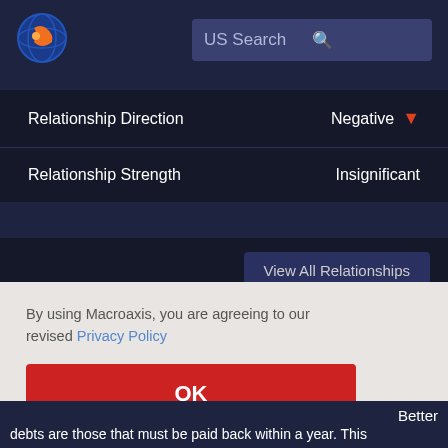[Figure (logo): Macroaxis globe logo — orange and blue sphere icon]
US Search
|  |  |
| --- | --- |
| Relationship Direction | Negative ▼ |
| Relationship Strength | Insignificant |
View All Relationships
By using Macroaxis, you are agreeing to our revised Privacy Policy
OK
Better
debts are those that must be paid back within a year. This